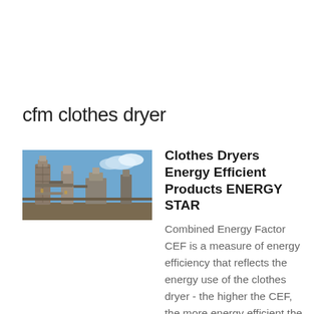cfm clothes dryer
[Figure (photo): Industrial facility or chemical plant with large metal towers, pipes, and structures against a blue sky background.]
Clothes Dryers Energy Efficient Products ENERGY STAR
Combined Energy Factor CEF is a measure of energy efficiency that reflects the energy use of the clothes dryer - the higher the CEF, the more energy efficient the clothes dryers You can find and compare the CEF for all certified dryer models using the